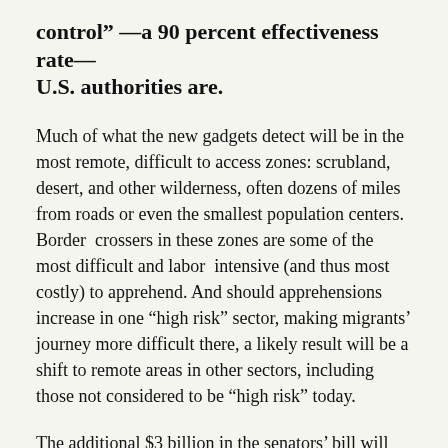control” —a 90 percent effectiveness rate— U.S. authorities are.
Much of what the new gadgets detect will be in the most remote, difficult to access zones: scrubland, desert, and other wilderness, often dozens of miles from roads or even the smallest population centers. Border crossers in these zones are some of the most difficult and labor intensive (and thus most costly) to apprehend. And should apprehensions increase in one “high risk” sector, making migrants’ journey more difficult there, a likely result will be a shift to remote areas in other sectors, including those not considered to be “high risk” today.
The additional $3 billion in the senators’ bill will further...